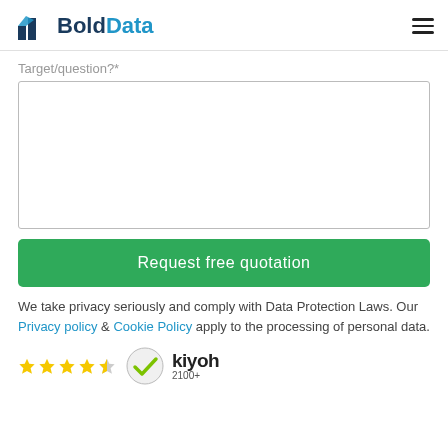BoldData
Target/question?*
[Figure (screenshot): Empty textarea input field for Target/question]
Request free quotation
We take privacy seriously and comply with Data Protection Laws. Our Privacy policy & Cookie Policy apply to the processing of personal data.
[Figure (logo): Kiyoh review badge with 4.5 stars and 2100+ reviews]